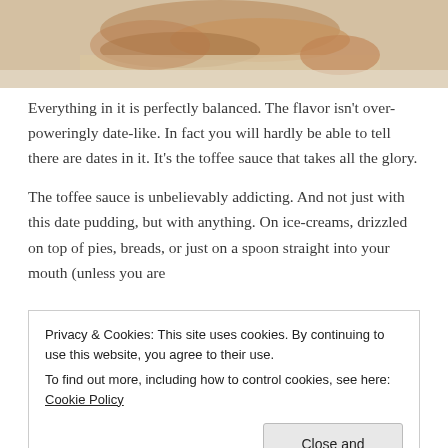[Figure (photo): Partial photo of a food item, likely a date pudding with toffee sauce, showing warm brown tones on a white background, cropped at the top of the page.]
Everything in it is perfectly balanced. The flavor isn't over-poweringly date-like. In fact you will hardly be able to tell there are dates in it. It's the toffee sauce that takes all the glory.
The toffee sauce is unbelievably addicting. And not just with this date pudding, but with anything. On ice-creams, drizzled on top of pies, breads, or just on a spoon straight into your mouth (unless you are
Privacy & Cookies: This site uses cookies. By continuing to use this website, you agree to their use.
To find out more, including how to control cookies, see here: Cookie Policy
Close and accept